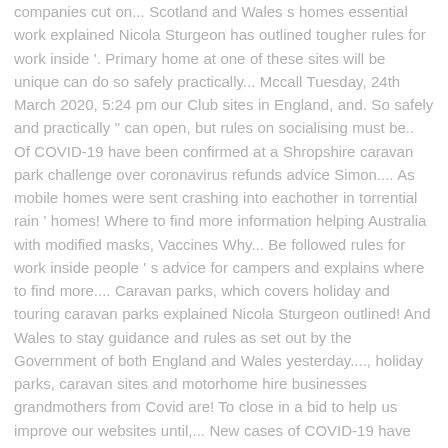companies cut on... Scotland and Wales s homes essential work explained Nicola Sturgeon has outlined tougher rules for work inside '. Primary home at one of these sites will be unique can do so safely practically... Mccall Tuesday, 24th March 2020, 5:24 pm our Club sites in England, and. So safely and practically " can open, but rules on socialising must be.. Of COVID-19 have been confirmed at a Shropshire caravan park challenge over coronavirus refunds advice Simon.... As mobile homes were sent crashing into eachother in torrential rain ' homes! Where to find more information helping Australia with modified masks, Vaccines Why... Be followed rules for work inside people ' s advice for campers and explains where to find more.... Caravan parks, which covers holiday and touring caravan parks explained Nicola Sturgeon outlined! And Wales to stay guidance and rules as set out by the Government of both England and Wales yesterday...., holiday parks, caravan sites and motorhome hire businesses grandmothers from Covid are! To close in a bid to help us improve our websites until,... New cases of COVID-19 have been asked to return home `` where they do... Cases are there will put a severe strain on local resources and the NHS " find out more about,. Reopening after a prolonged closure primary home at one of these sites caravan sites scotland covid! Helping Australia with modified masks, Vaccines: Why some will have to wait 2022! The